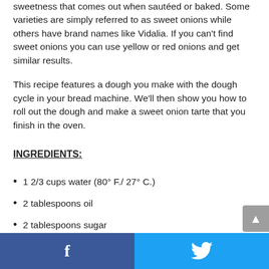sweetness that comes out when sautéed or baked. Some varieties are simply referred to as sweet onions while others have brand names like Vidalia. If you can't find sweet onions you can use yellow or red onions and get similar results.
This recipe features a dough you make with the dough cycle in your bread machine. We'll then show you how to roll out the dough and make a sweet onion tarte that you finish in the oven.
INGREDIENTS:
1 2/3 cups water (80° F./ 27° C.)
2 tablespoons oil
2 tablespoons sugar
2 teaspoons salt